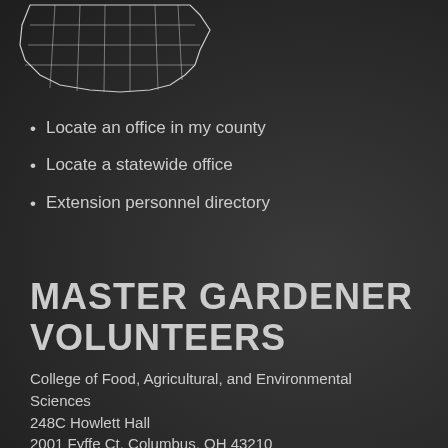[Figure (map): Partial outline map of Ohio showing county borders, white lines on dark background, positioned in top-left corner]
Locate an office in my county
Locate a statewide office
Extension personnel directory
MASTER GARDENER VOLUNTEERS
College of Food, Agricultural, and Environmental Sciences
248C Howlett Hall
2001 Fyffe Ct, Columbus, OH 43210